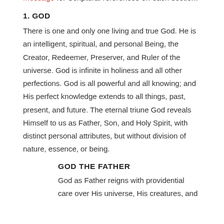Message for Scriptural references on each section.
1. GOD
There is one and only one living and true God. He is an intelligent, spiritual, and personal Being, the Creator, Redeemer, Preserver, and Ruler of the universe. God is infinite in holiness and all other perfections. God is all powerful and all knowing; and His perfect knowledge extends to all things, past, present, and future. The eternal triune God reveals Himself to us as Father, Son, and Holy Spirit, with distinct personal attributes, but without division of nature, essence, or being.
GOD THE FATHER
God as Father reigns with providential care over His universe, His creatures, and